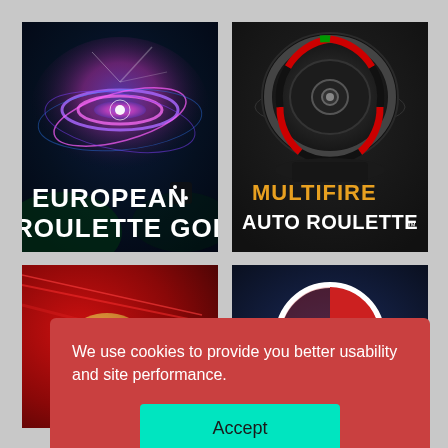[Figure (screenshot): European Roulette Gold game thumbnail: glowing neon roulette wheel on dark blue/green background with bold white text reading EUROPEAN ROULETTE GOLD]
[Figure (screenshot): Multifire Auto Roulette game thumbnail: black roulette wheel on dark background with orange/white text reading MULTIFIRE AUTO ROULETTE with TM mark]
[Figure (screenshot): Bottom-left game thumbnail: red background with spinning wheel motif and gold coin element]
[Figure (screenshot): Bottom-right game thumbnail: blue/dark background with circular logo in white, red and blue]
We use cookies to provide you better usability and site performance.
Accept